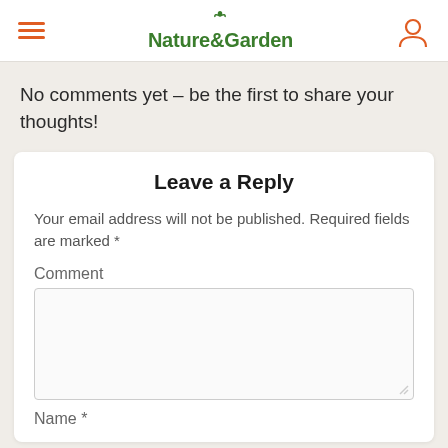Nature & Garden
No comments yet – be the first to share your thoughts!
Leave a Reply
Your email address will not be published. Required fields are marked *
Comment
Name *